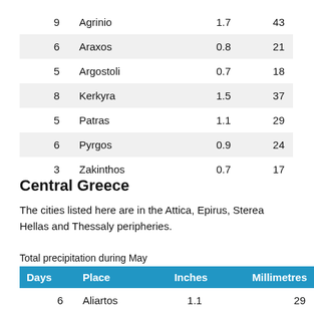| Days | Place | Inches | Millimetres |
| --- | --- | --- | --- |
| 9 | Agrinio | 1.7 | 43 |
| 6 | Araxos | 0.8 | 21 |
| 5 | Argostoli | 0.7 | 18 |
| 8 | Kerkyra | 1.5 | 37 |
| 5 | Patras | 1.1 | 29 |
| 6 | Pyrgos | 0.9 | 24 |
| 3 | Zakinthos | 0.7 | 17 |
Central Greece
The cities listed here are in the Attica, Epirus, Sterea Hellas and Thessaly peripheries.
Total precipitation during May
| Days | Place | Inches | Millimetres |
| --- | --- | --- | --- |
| 6 | Aliartos | 1.1 | 29 |
| 7 | Arta | 2.3 | 59 |